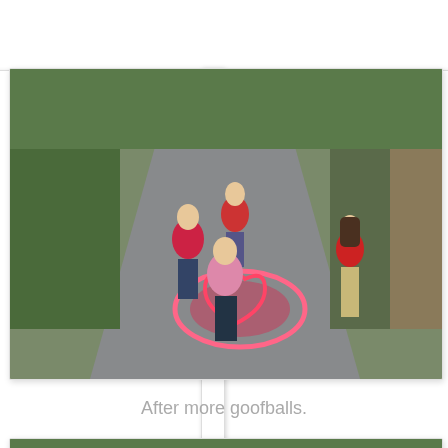[Figure (photo): Two children playing in an alley with colorful chalk drawings on the pavement including hearts, flowers, and other designs. One child stands in the background, one in middle ground, and one crouching near the chalk art.]
After more goofballs.
[Figure (photo): Two girls standing in the same alley with chalk heart drawing visible on the pavement. One younger girl stands on the left, one older girl on the right wearing sunglasses and red shirt.]